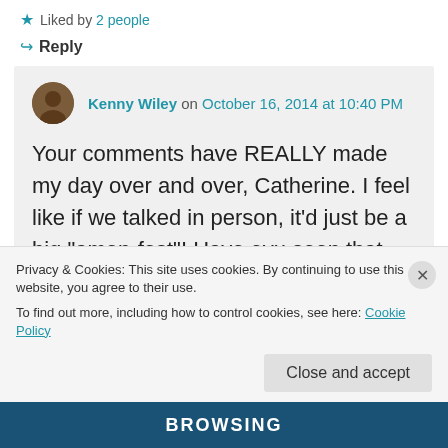★ Liked by 2 people
↪ Reply
Kenny Wiley on October 16, 2014 at 10:40 PM
Your comments have REALLY made my day over and over, Catherine. I feel like if we talked in person, it'd just be a big "amen-fest"! Have oyu seen that article from the Washington Post on white people
Privacy & Cookies: This site uses cookies. By continuing to use this website, you agree to their use.
To find out more, including how to control cookies, see here: Cookie Policy
Close and accept
BROWSING